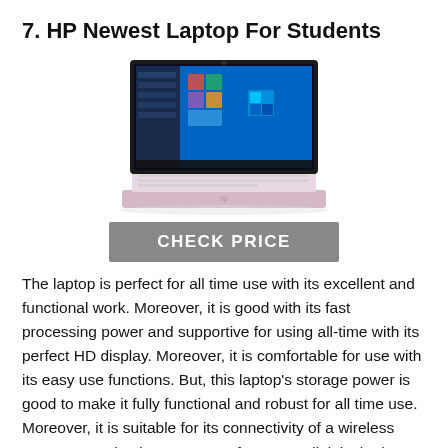7. HP Newest Laptop For Students
[Figure (photo): HP laptop with pink/rose gold body open showing Windows 10 desktop on screen, with a gray CHECK PRICE button below]
The laptop is perfect for all time use with its excellent and functional work. Moreover, it is good with its fast processing power and supportive for using all-time with its perfect HD display. Moreover, it is comfortable for use with its easy use functions. But, this laptop's storage power is good to make it fully functional and robust for all time use. Moreover, it is suitable for its connectivity of a wireless system to make the system perfect. Overall, it is the best supportive laptop for all students to use with its maximum power for work.